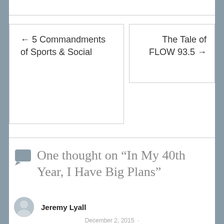← 5 Commandments of Sports & Social
The Tale of FLOW 93.5 →
One thought on “In My 40th Year, I Have Big Plans”
Jeremy Lyall
December 2, 2015